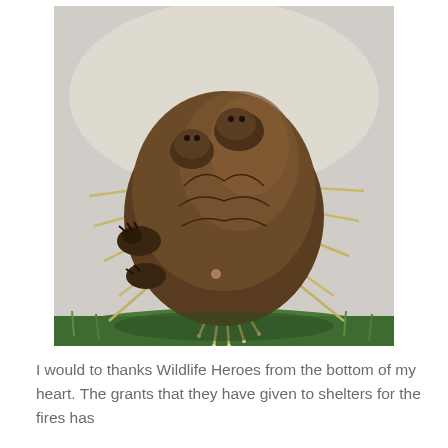[Figure (photo): A hedgehog curled up showing its spines from below/side, with baby hedgehogs or small animals visible on top. The hedgehog is on green grass. The spines (quills) are yellow-tipped and prominently displayed.]
I would to thanks Wildlife Heroes from the bottom of my heart. The grants that they have given to shelters for the fires has